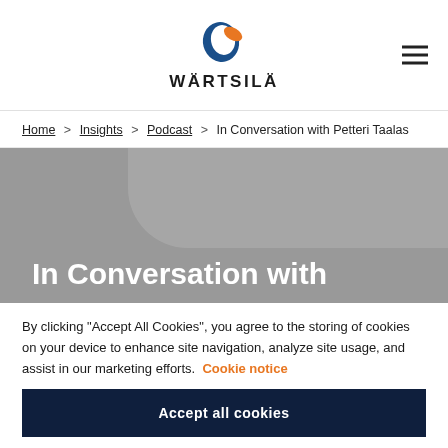[Figure (logo): Wärtsilä company logo with blue and orange swoosh icon above the text WÄRTSILÄ]
Home > Insights > Podcast > In Conversation with Petteri Taalas
[Figure (photo): Grey hero image background with white bold text reading 'In Conversation with']
By clicking "Accept All Cookies", you agree to the storing of cookies on your device to enhance site navigation, analyze site usage, and assist in our marketing efforts. Cookie notice
Accept all cookies
Cookies settings